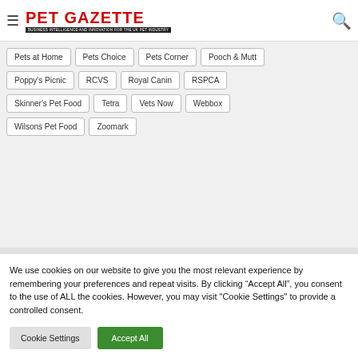PET GAZETTE
Pets at Home
Pets Choice
Pets Corner
Pooch & Mutt
Poppy's Picnic
RCVS
Royal Canin
RSPCA
Skinner's Pet Food
Tetra
Vets Now
Webbox
Wilsons Pet Food
Zoomark
We use cookies on our website to give you the most relevant experience by remembering your preferences and repeat visits. By clicking "Accept All", you consent to the use of ALL the cookies. However, you may visit "Cookie Settings" to provide a controlled consent.